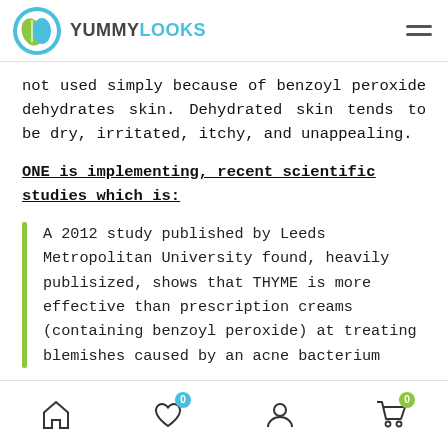YUMMYLOOKS
not used simply because of benzoyl peroxide dehydrates skin. Dehydrated skin tends to be dry, irritated, itchy, and unappealing.
ONE is implementing, recent scientific studies which is:
A 2012 study published by Leeds Metropolitan University found, heavily publisized, shows that THYME is more effective than prescription creams (containing benzoyl peroxide) at treating blemishes caused by an acne bacterium
Navigation bar with home, wishlist (0), account, and cart (0) icons